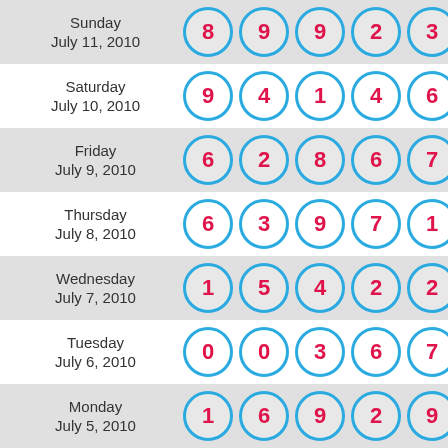| Date | Numbers |
| --- | --- |
| Sunday July 11, 2010 | 8 9 9 2 3 |
| Saturday July 10, 2010 | 9 4 1 4 6 |
| Friday July 9, 2010 | 6 2 8 6 7 |
| Thursday July 8, 2010 | 6 3 9 7 1 |
| Wednesday July 7, 2010 | 1 5 4 2 2 |
| Tuesday July 6, 2010 | 0 0 3 6 7 |
| Monday July 5, 2010 | 1 6 9 2 9 |
| Sunday (partial) | ... |